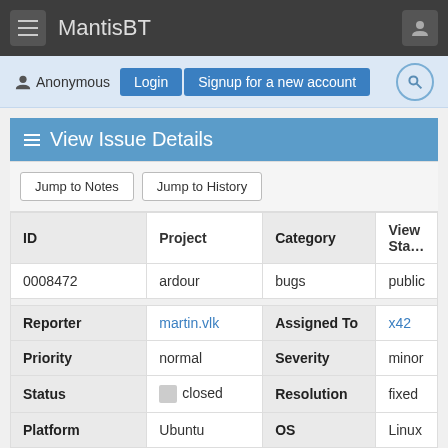MantisBT
Anonymous  Login  Signup for a new account
View Issue Details
Jump to Notes  Jump to History
| ID | Project | Category | View Status |
| --- | --- | --- | --- |
| 0008472 | ardour | bugs | public |
| Reporter | martin.vlk | Assigned To | x42 |
| Priority | normal | Severity | minor |
| Status | closed | Resolution | fixed |
| Platform | Ubuntu | OS | Linux |
| Product Version | 6.3 |  |  |
| Summary | 0008472: Newly added audio tracks are not correctly c… |  |  |